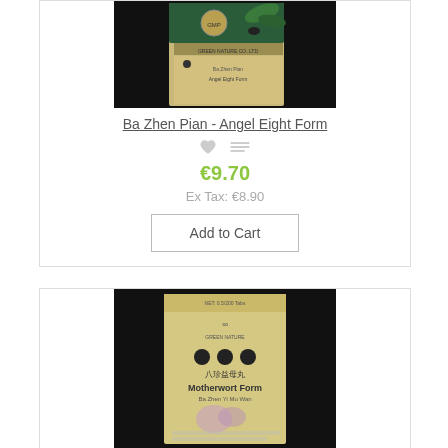[Figure (photo): Product photo of Ba Zhen Pian - Angel Eight Form herbal supplement box on black background]
Ba Zhen Pian - Angel Eight Form
[Figure (illustration): Heart (wishlist) icon and compare icon]
€9.70
Ex Tax: €8.90
Add to Cart
[Figure (photo): Product photo of Motherwort Form (Ba Zhen Yi Mu Wan) herbal supplement box on black background]